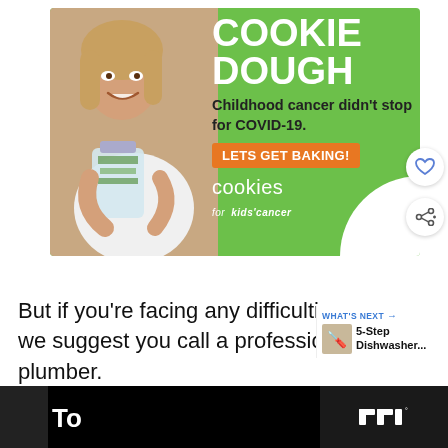[Figure (illustration): Advertisement for 'Cookies for Kids' Cancer' — green background with a young girl holding a jar of money. Text reads: COOKIE DOUGH, Childhood cancer didn't stop for COVID-19. LETS GET BAKING! cookies for kids' cancer]
But if you're facing any difficulties, we suggest you call a professional plumber.
[Figure (infographic): WHAT'S NEXT callout: 5-Step Dishwasher... with a thumbnail icon]
To